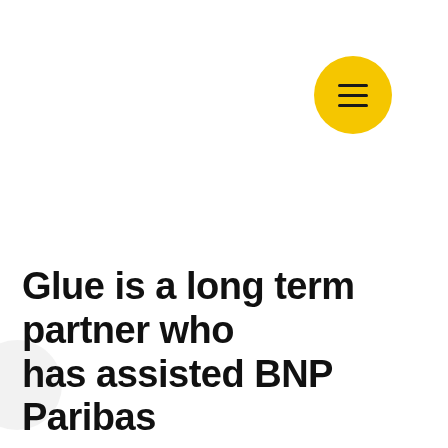[Figure (other): Yellow circular menu button with three horizontal lines (hamburger icon) in the top-right corner]
Glue is a long term partner who has assisted BNP Paribas